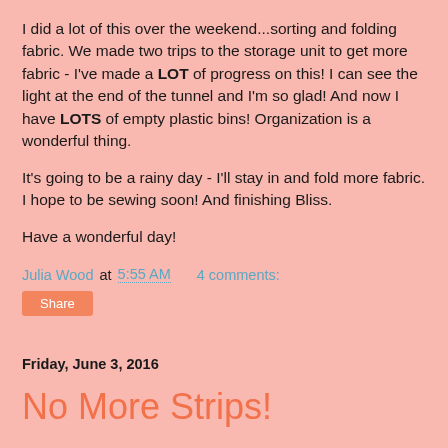I did a lot of this over the weekend...sorting and folding fabric. We made two trips to the storage unit to get more fabric - I've made a LOT of progress on this! I can see the light at the end of the tunnel and I'm so glad! And now I have LOTS of empty plastic bins! Organization is a wonderful thing.
It's going to be a rainy day - I'll stay in and fold more fabric. I hope to be sewing soon! And finishing Bliss.
Have a wonderful day!
Julia Wood at 5:55 AM    4 comments:
Share
Friday, June 3, 2016
No More Strips!